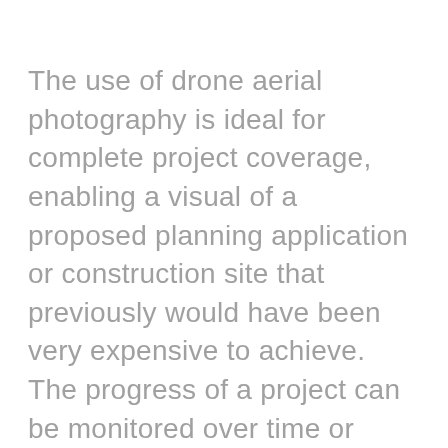The use of drone aerial photography is ideal for complete project coverage, enabling a visual of a proposed planning application or construction site that previously would have been very expensive to achieve. The progress of a project can be monitored over time or health and safety inspections conducted without the need to interrupt productivity.